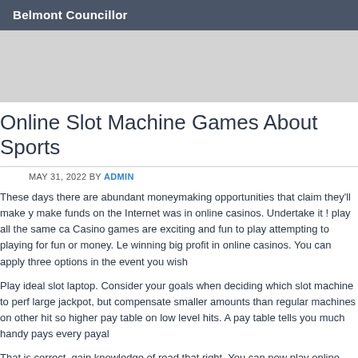Belmont Councillor
Online Slot Machine Games About Sports
MAY 31, 2022 BY ADMIN
These days there are abundant moneymaking opportunities that claim they'll make y make funds on the Internet was in online casinos. Undertake it ! play all the same ca Casino games are exciting and fun to play attempting to playing for fun or money. Le winning big profit in online casinos. You can apply three options in the event you wish
Play ideal slot laptop. Consider your goals when deciding which slot machine to perf large jackpot, but compensate smaller amounts than regular machines on other hit so higher pay table on low level hits. A pay table tells you much handy pays every payal
That is correct, gain knowledge of read that right. You can now play online slots as w your vacation rolls around, or learn some lame excuse to tell the boss so since you c
Players must battle Doctor Octopus and are also placed in difficult conditions. Playin too superslot slot online casino pest spin. Players will face all common criminals of th